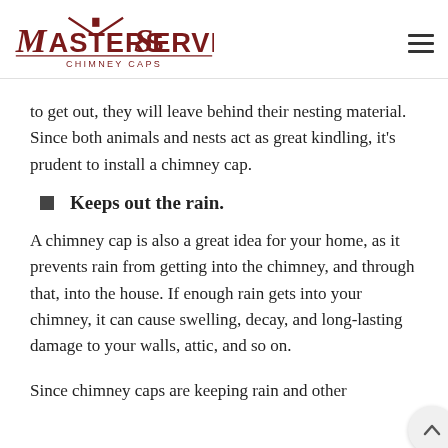Masters Services Chimney Caps
to get out, they will leave behind their nesting material. Since both animals and nests act as great kindling, it's prudent to install a chimney cap.
Keeps out the rain.
A chimney cap is also a great idea for your home, as it prevents rain from getting into the chimney, and through that, into the house. If enough rain gets into your chimney, it can cause swelling, decay, and long-lasting damage to your walls, attic, and so on.
Since chimney caps are keeping rain and other elements...